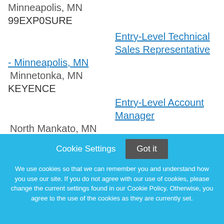Minneapolis, MN
99EXP0SURE
Entry-Level Technical Sales Representative - Minneapolis, MN | Minnetonka, MN | KEYENCE
Entry-Level Account Manager | North Mankato, MN | Taylor Corporation
Marketing (Entry Level) | Woodbury, MN
Cookie Settings  Got it
We use cookies so that we can remember you and understand how you use our site. If you do not agree with our use of cookies, please change the current settings found in our Cookie Policy. Otherwise, you agree to the use of the cookies as they are currently set.